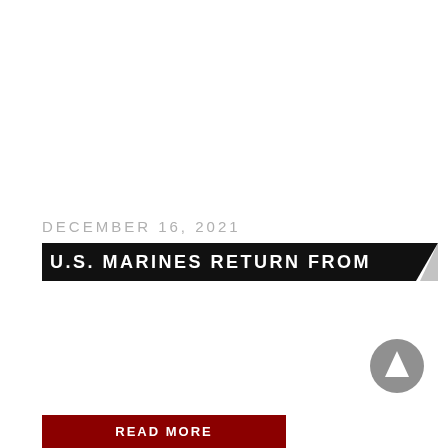DECEMBER 16, 2021
U.S. MARINES RETURN FROM
[Figure (other): Navigation arrow button (circular grey button with upward-pointing arrow)]
READ MORE